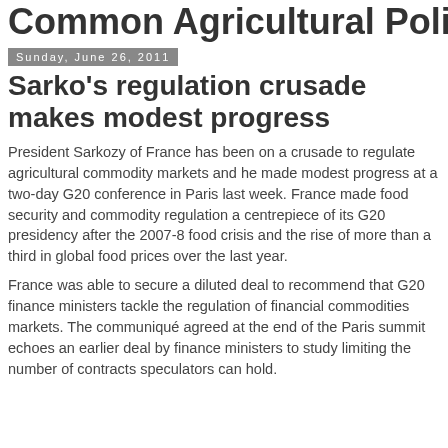Common Agricultural Policy
Sunday, June 26, 2011
Sarko's regulation crusade makes modest progress
President Sarkozy of France has been on a crusade to regulate agricultural commodity markets and he made modest progress at a two-day G20 conference in Paris last week. France made food security and commodity regulation a centrepiece of its G20 presidency after the 2007-8 food crisis and the rise of more than a third in global food prices over the last year.
France was able to secure a diluted deal to recommend that G20 finance ministers tackle the regulation of financial commodities markets. The communiqué agreed at the end of the Paris summit echoes an earlier deal by finance ministers to study limiting the number of contracts speculators can hold.